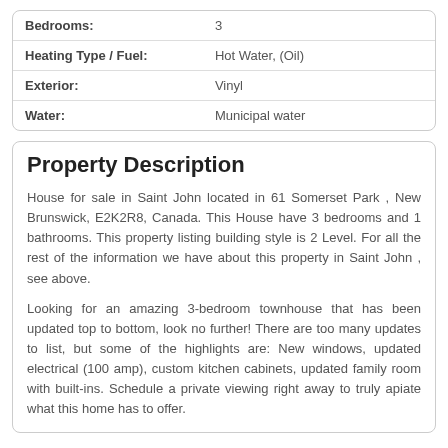| Property | Value |
| --- | --- |
| Bedrooms: | 3 |
| Heating Type / Fuel: | Hot Water, (Oil) |
| Exterior: | Vinyl |
| Water: | Municipal water |
Property Description
House for sale in Saint John located in 61 Somerset Park , New Brunswick, E2K2R8, Canada. This House have 3 bedrooms and 1 bathrooms. This property listing building style is 2 Level. For all the rest of the information we have about this property in Saint John , see above.
Looking for an amazing 3-bedroom townhouse that has been updated top to bottom, look no further! There are too many updates to list, but some of the highlights are: New windows, updated electrical (100 amp), custom kitchen cabinets, updated family room with built-ins. Schedule a private viewing right away to truly apiate what this home has to offer.